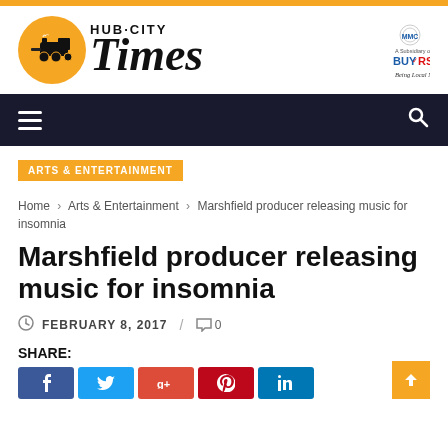[Figure (logo): Hub-City Times newspaper logo with steam train illustration and HUB-CITY Times text in bold serif font]
[Figure (logo): MMC / Buyers subsidiary logo with 'Being Local Matters!' tagline]
[Figure (infographic): Dark navigation bar with hamburger menu icon on left and search icon on right]
ARTS & ENTERTAINMENT
Home › Arts & Entertainment › Marshfield producer releasing music for insomnia
Marshfield producer releasing music for insomnia
FEBRUARY 8, 2017 / 0
SHARE: